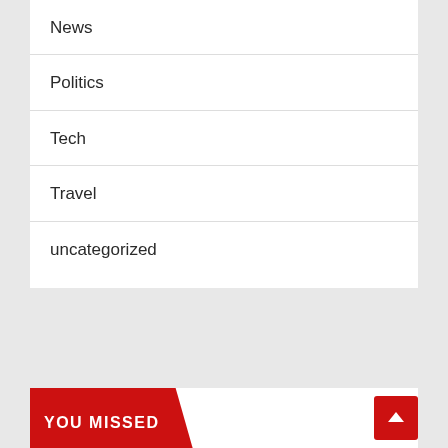News
Politics
Tech
Travel
uncategorized
YOU MISSED